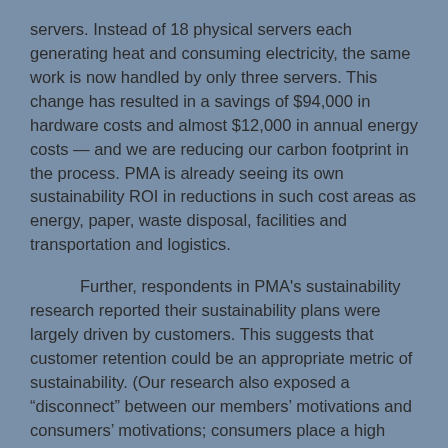servers. Instead of 18 physical servers each generating heat and consuming electricity, the same work is now handled by only three servers. This change has resulted in a savings of $94,000 in hardware costs and almost $12,000 in annual energy costs — and we are reducing our carbon footprint in the process. PMA is already seeing its own sustainability ROI in reductions in such cost areas as energy, paper, waste disposal, facilities and transportation and logistics.
Further, respondents in PMA's sustainability research reported their sustainability plans were largely driven by customers. This suggests that customer retention could be an appropriate metric of sustainability. (Our research also exposed a “disconnect” between our members’ motivations and consumers’ motivations; consumers place a high value on the “people” or social issues aspect of sustainability, while our survey respondents most highly ranked the “planet” or environmental aspects.)